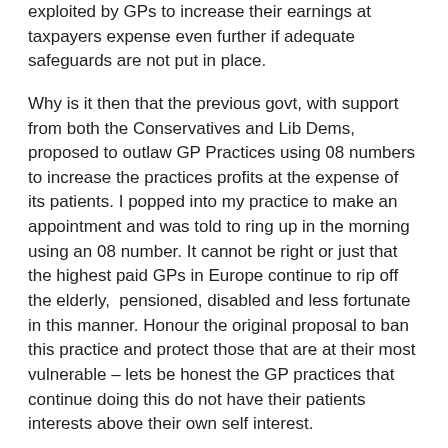exploited by GPs to increase their earnings at taxpayers expense even further if adequate safeguards are not put in place.
Why is it then that the previous govt, with support from both the Conservatives and Lib Dems, proposed to outlaw GP Practices using 08 numbers to increase the practices profits at the expense of its patients. I popped into my practice to make an appointment and was told to ring up in the morning using an 08 number. It cannot be right or just that the highest paid GPs in Europe continue to rip off the elderly, pensioned, disabled and less fortunate in this manner. Honour the original proposal to ban this practice and protect those that are at their most vulnerable – lets be honest the GP practices that continue doing this do not have their patients interests above their own self interest.
Why is this idea important?
GPs in this country are the highest paid in Europe. On top